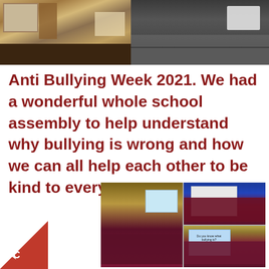[Figure (photo): Two photos at top: left shows classroom shelves and furniture; right shows students sitting on floor in school uniforms]
Anti Bullying Week 2021. We had a wonderful whole school assembly to help understand why bullying is wrong and how we can all help each other to be kind to everyone.
[Figure (photo): Collage of four school assembly photos showing students in maroon/burgundy uniforms seated in a hall watching a presentation screen]